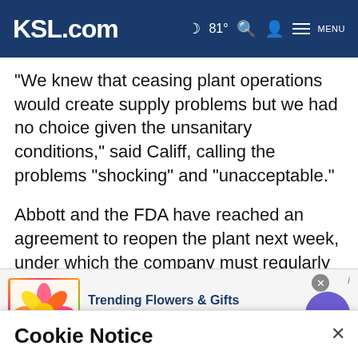KSL.com  🌙 81° 🔍 👤 MENU
"We knew that ceasing plant operations would create supply problems but we had no choice given the unsanitary conditions," said Califf, calling the problems "shocking" and "unacceptable."
Abbott and the FDA have reached an agreement to reopen the plant next week, under which the company must regularly undergo outside safety audits.
Cookie Notice
We use cookies to improve your experience, analyze site traffic, and to personalize content and ads. By continuing to use our site, you consent to our use of cookies. Please visit our Terms of Use and  Privacy Policy for more information
[Figure (infographic): Advertisement banner for 1800flowers.com showing flower bouquet, text 'Trending Flowers & Gifts', 'Shop The Collection', 'www.1800flowers.com', with a purple arrow button and close button]